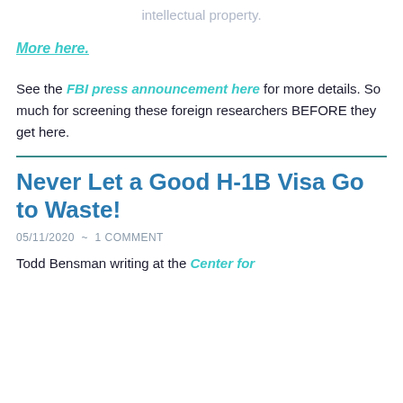intellectual property.
More here.
See the FBI press announcement here for more details. So much for screening these foreign researchers BEFORE they get here.
Never Let a Good H-1B Visa Go to Waste!
05/11/2020  ~  1 COMMENT
Todd Bensman writing at the Center for